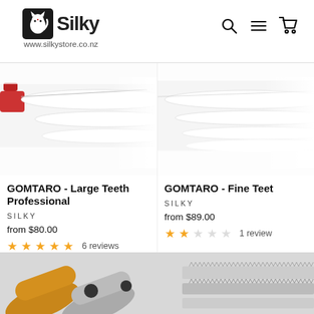[Figure (logo): Silky brand logo with stylized animal icon and www.silkystore.co.nz URL]
[Figure (screenshot): Navigation icons: search (magnifying glass), menu (hamburger), cart]
[Figure (photo): Product photo for GOMTARO Large Teeth Professional saw, showing saw blades on white background]
GOMTARO - Large Teeth Professional
SILKY
from $80.00
6 reviews
[Figure (photo): Product photo for GOMTARO Fine Teeth saw, showing saw blades on white background (partially visible, cropped on right)]
GOMTARO - Fine Teet
SILKY
from $89.00
1 review
[Figure (photo): Bottom portion showing multiple folding saws with orange, grey and white handles with saw blades, partially visible]